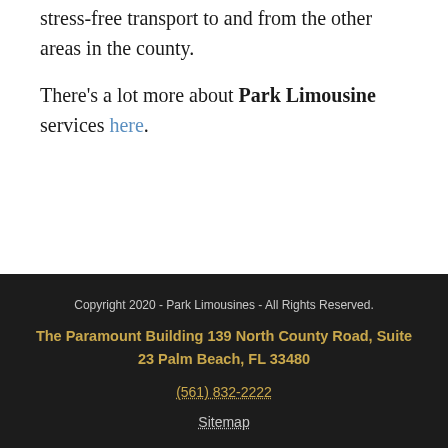stress-free transport to and from the other areas in the county.

There's a lot more about Park Limousine services here.
Copyright 2020 - Park Limousines - All Rights Reserved.
The Paramount Building 139 North County Road, Suite 23 Palm Beach, FL 33480
(561) 832-2222
Sitemap